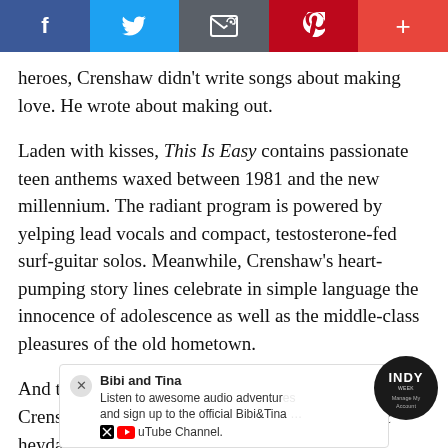[Figure (other): Social media share bar with Facebook, Twitter, email, Pinterest, and more buttons]
heroes, Crenshaw didn't write songs about making love. He wrote about making out.
Laden with kisses, This Is Easy contains passionate teen anthems waxed between 1981 and the new millennium. The radiant program is powered by yelping lead vocals and compact, testosterone-fed surf-guitar solos. Meanwhile, Crenshaw's heart-pumping story lines celebrate in simple language the innocence of adolescence as well as the middle-class pleasures of the old hometown.
And that's why he's never achieved real star status. Crenshaw arrived on the scene during the caustic heyday of post-punk, a bleak time when nobody cared to he[ar his stories of] puppy love[...]
[Figure (other): Advertisement overlay: Bibi and Tina audio adventures, with close button, Twitter X icon, YouTube icon, and INDY Manage My Account badge]